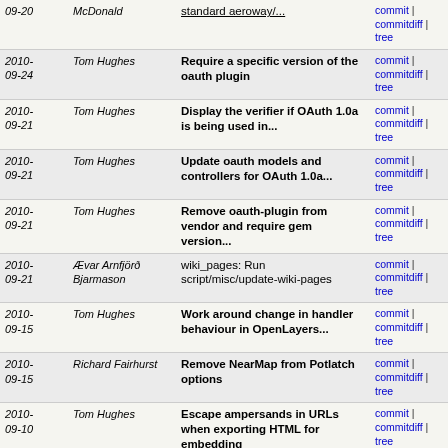| Date | Author | Message | Links |
| --- | --- | --- | --- |
| 09-20 (partial) | McDonald (partial) | standard aeroway... (partial) | commit | commitdiff | tree |
| 2010-09-24 | Tom Hughes | Require a specific version of the oauth plugin | commit | commitdiff | tree |
| 2010-09-21 | Tom Hughes | Display the verifier if OAuth 1.0a is being used in... | commit | commitdiff | tree |
| 2010-09-21 | Tom Hughes | Update oauth models and controllers for OAuth 1.0a... | commit | commitdiff | tree |
| 2010-09-21 | Tom Hughes | Remove oauth-plugin from vendor and require gem version... | commit | commitdiff | tree |
| 2010-09-21 | Ævar Arnfjörð Bjarmason | wiki_pages: Run script/misc/update-wiki-pages | commit | commitdiff | tree |
| 2010-09-15 | Tom Hughes | Work around change in handler behaviour in OpenLayers... | commit | commitdiff | tree |
| 2010-09-15 | Richard Fairhurst | Remove NearMap from Potlatch options | commit | commitdiff | tree |
| 2010-09-10 | Tom Hughes | Escape ampersands in URLs when exporting HTML for embedding | commit | commitdiff | tree |
| 2010-09-10 | Tom Hughes | Make locale data for help and wiki links a bit cleaner | commit | commitdiff | tree |
| 2010-09-10 | Tom Hughes | Only display the license notice if we don't already... | commit | commitdiff | tree |
| 2010-09-10 | Tom Hughes | Mention help.openstreetmap.org in the welcome message | commit | commitdiff | tree |
| 2010-09-10 (partial) | Tom Hughes | Link to help.openstreetmap.org from the wiki... | commit | commitdiff |